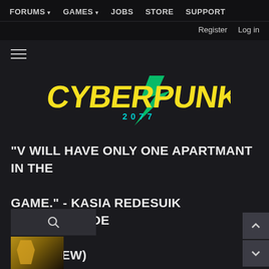FORUMS ▾   GAMES ▾   JOBS   STORE   SUPPORT   Register   Log in
[Figure (logo): Cyberpunk 2077 logo in yellow stylized text with teal '2077' beneath and a lightning bolt graphic]
"V WILL HAVE ONLY ONE APARTMANT IN THE GAME." - KASIA REDESUIK (GAMESTAR.DE INTERVIEW)